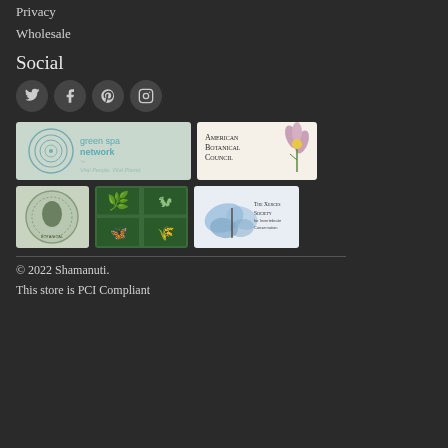Privacy
Wholesale
Social
[Figure (infographic): Four social media icon circles: Twitter, Facebook, Pinterest, Instagram on dark background]
[Figure (logo): Green Spa Network logo - Vital People. Vital Planet.]
[Figure (logo): American Botanical Council logo with flower illustration]
[Figure (logo): Circular botanical organization seal/badge]
[Figure (logo): Botanical Society of America logo - green plant tiles]
[Figure (logo): The Xerces Society for Invertebrate Conservation logo with butterfly]
© 2022 Shamanuti.
This store is PCI Compliant